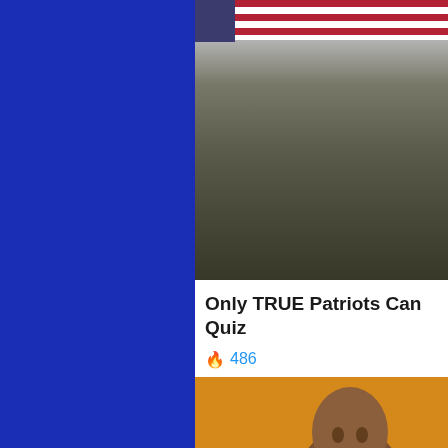[Figure (photo): Blue sidebar background panel on left side of page]
[Figure (photo): Photo of crowd of people at an outdoor rally holding American flags in cold weather, wearing winter coats and hoods]
Only TRUE Patriots Can Quiz
🔥 486
[Figure (photo): Photo of a person against an orange/golden background, partially cut off at bottom of page]